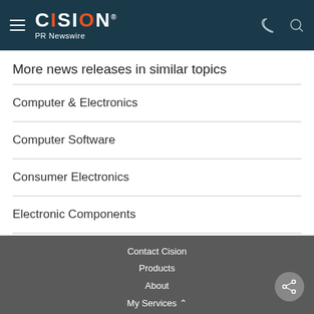CISION PR Newswire
More news releases in similar topics
Computer & Electronics
Computer Software
Consumer Electronics
Electronic Components
Semiconductors
Contact Cision
Products
About
My Services